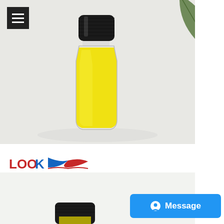[Figure (photo): A small glass vial with a black cap containing bright yellow liquid, placed on a white surface with a green leaf visible in the upper right corner. A hamburger menu icon (three horizontal white lines on dark background) is in the upper left.]
[Figure (logo): Look Chemical company logo: red and blue text reading LOOK CHEMICAL with a stylized wing/flag graphic in red and blue]
[Figure (photo): Partial view of another chemical product bottle, mostly cut off, on a light background]
[Figure (other): Blue Message button with circle/chat icon in the bottom right corner]